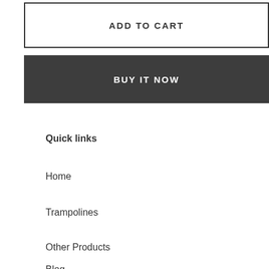ADD TO CART
BUY IT NOW
Quick links
Home
Trampolines
Other Products
Blog